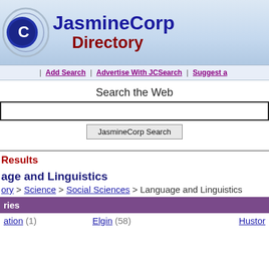[Figure (logo): JasmineCorp logo with blue circular icon and company name in blue and red]
JasmineCorp Directory
| Add Search | Advertise With JCSearch | Suggest a
Search the Web
JasmineCorp Search
Results
Language and Linguistics
Directory > Science > Social Sciences > Language and Linguistics
ries
ation (1)   Elgin (58)   Hustor